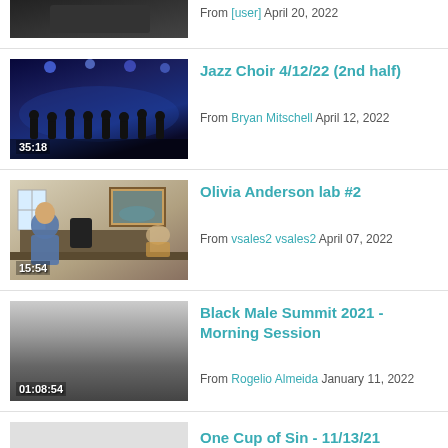[Figure (screenshot): Partial video thumbnail at top of page (cropped), dark background]
From [user] April 20, 2022
[Figure (screenshot): Jazz Choir performance video thumbnail, blue stage lighting, duration 35:18]
Jazz Choir 4/12/22 (2nd half)
From Bryan Mitschell April 12, 2022
[Figure (screenshot): Olivia Anderson lab video thumbnail, person in blue shirt at desk, duration 15:54]
Olivia Anderson lab #2
From vsales2 vsales2 April 07, 2022
[Figure (screenshot): Black Male Summit 2021 Morning Session video thumbnail, gray gradient, duration 01:08:54]
Black Male Summit 2021 - Morning Session
From Rogelio Almeida January 11, 2022
One Cup of Sin - 11/13/21